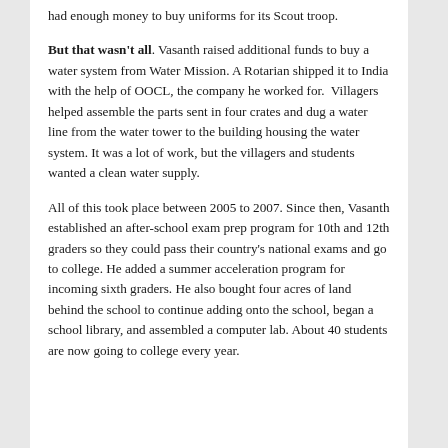had enough money to buy uniforms for its Scout troop.
But that wasn't all. Vasanth raised additional funds to buy a water system from Water Mission. A Rotarian shipped it to India with the help of OOCL, the company he worked for.  Villagers helped assemble the parts sent in four crates and dug a water line from the water tower to the building housing the water system. It was a lot of work, but the villagers and students wanted a clean water supply.
All of this took place between 2005 to 2007. Since then, Vasanth established an after-school exam prep program for 10th and 12th graders so they could pass their country's national exams and go to college. He added a summer acceleration program for incoming sixth graders. He also bought four acres of land behind the school to continue adding onto the school, began a school library, and assembled a computer lab. About 40 students are now going to college every year.